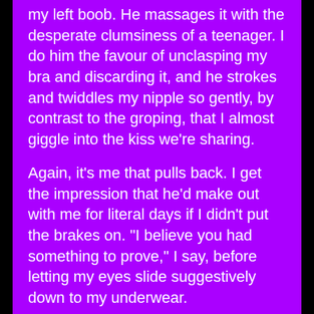my left boob. He massages it with the desperate clumsiness of a teenager. I do him the favour of unclasping my bra and discarding it, and he strokes and twiddles my nipple so gently, by contrast to the groping, that I almost giggle into the kiss we’re sharing.
Again, it’s me that pulls back. I get the impression that he’d make out with me for literal days if I didn’t put the brakes on. “I believe you had something to prove,” I say, before letting my eyes slide suggestively down to my underwear.